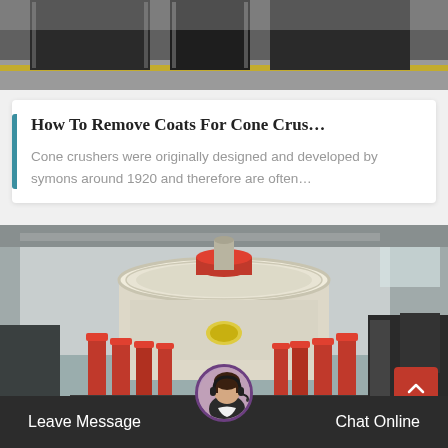[Figure (photo): Top portion of industrial machinery in a warehouse, partially cut off at top of page]
How To Remove Coats For Cone Crus…
Cone crushers were originally designed and developed by symons around 1920 and therefore are often…
[Figure (photo): Large industrial cone crusher machine in a factory/warehouse setting with red and white components]
Leave Message
Chat Online